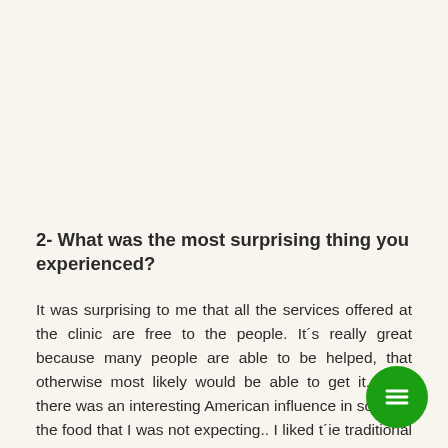2- What was the most surprising thing you experienced?
It was surprising to me that all the services offered at the clinic are free to the people. It´s really great because many people are able to be helped, that otherwise most likely would be able to get it. Also, there was an interesting American influence in some of the food that I was not expecting.. I liked t´ie traditional foods.